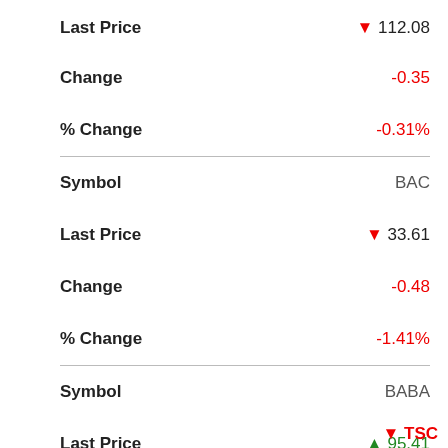| Field | Value |
| --- | --- |
| Last Price | ▼ 112.08 |
| Change | -0.35 |
| % Change | -0.31% |
| Symbol | BAC |
| Last Price | ▼ 33.61 |
| Change | -0.48 |
| % Change | -1.41% |
| Symbol | BABA |
| Last Price | ▲ 95.41 |
▼ TSC